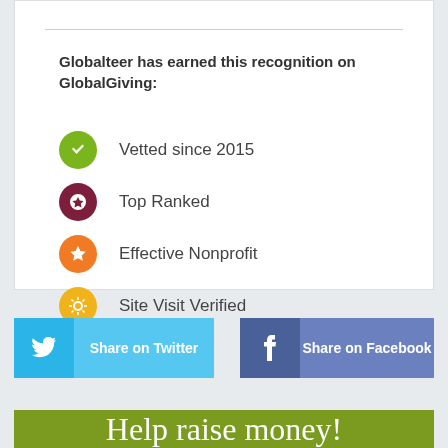Globalteer has earned this recognition on GlobalGiving:
Vetted since 2015
Top Ranked
Effective Nonprofit
Site Visit Verified
[Figure (other): Share on Twitter button with Twitter bird icon]
[Figure (other): Share on Facebook button with Facebook f icon]
Help raise money!